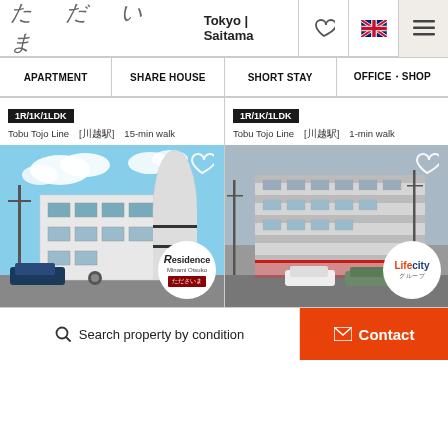ただいま  Tokyo | Saitama
APARTMENT  SHARE HOUSE  SHORT STAY  OFFICE・SHOP
1R/1K/1LDK
Tobu Tojo Line  [川越駅]  15-min walk
[Figure (photo): Exterior photo of a white multi-storey apartment building (Residence Minami Otsuka) with cars parked in front, blue sky with clouds]
1R/1K/1LDK
Tobu Tojo Line  [川越駅]  1-min walk
[Figure (photo): Exterior photo of a white multi-level building (Lifecity) with cars parked in front, overcast sky]
Search property by condition
Contact